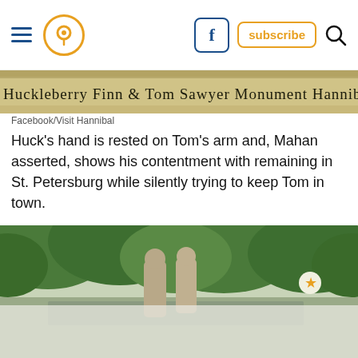Navigation bar with hamburger menu, location pin icon, Facebook icon, subscribe button, search icon
[Figure (photo): Handwritten text on aged paper reading: Huckleberry Finn & Tom Sawyer Monument Hannibal Mo]
Facebook/Visit Hannibal
Huck's hand is rested on Tom's arm and, Mahan asserted, shows his contentment with remaining in St. Petersburg while silently trying to keep Tom in town.
Today, visitors from around the world visit the Tom and Huck Statue, snapping photos and selfies.
[Figure (photo): Photo of the Tom and Huck Statue outdoors with green trees in background; two bronze figures visible, lower portion faded/white overlay]